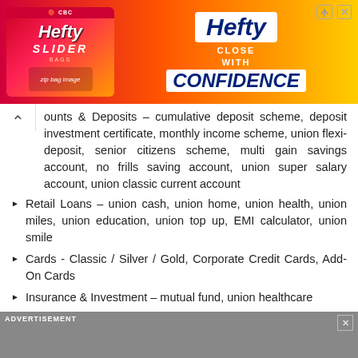[Figure (illustration): Hefty Slider bags advertisement banner with product image on left and 'Hefty CLOSE WITH CONFIDENCE' text on right, with orange-red-yellow gradient background]
ounts & Deposits – cumulative deposit scheme, deposit investment certificate, monthly income scheme, union flexi-deposit, senior citizens scheme, multi gain savings account, no frills saving account, union super salary account, union classic current account
Retail Loans – union cash, union home, union health, union miles, union education, union top up, EMI calculator, union smile
Cards - Classic / Silver / Gold, Corporate Credit Cards, Add-On Cards
Insurance & Investment – mutual fund, union healthcare
Demat – demat accounts, online share trading
Payment
NRI Banking
[Figure (illustration): Gray advertisement bar at bottom with 'ADVERTISEMENT' label and close button]
ADVERTISEMENT